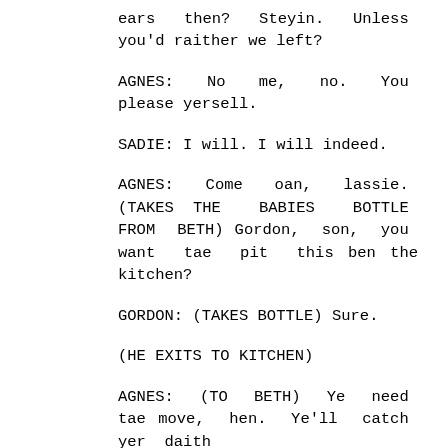ears then? Steyin. Unless you'd raither we left?
AGNES: No me, no. You please yersell.
SADIE: I will. I will indeed.
AGNES: Come oan, lassie. (TAKES THE BABIES BOTTLE FROM BETH) Gordon, son, you want tae pit this ben the kitchen?
GORDON: (TAKES BOTTLE) Sure.
(HE EXITS TO KITCHEN)
AGNES: (TO BETH) Ye need tae move, hen. Ye'll catch yer daith